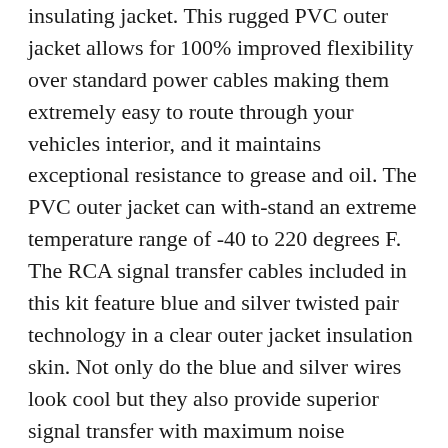insulating jacket. This rugged PVC outer jacket allows for 100% improved flexibility over standard power cables making them extremely easy to route through your vehicles interior, and it maintains exceptional resistance to grease and oil. The PVC outer jacket can with-stand an extreme temperature range of -40 to 220 degrees F. The RCA signal transfer cables included in this kit feature blue and silver twisted pair technology in a clear outer jacket insulation skin. Not only do the blue and silver wires look cool but they also provide superior signal transfer with maximum noise suppression. They are 100% copper to provide absolute lossless perfect signal transfer to your receiver. This technology reduces interference, so your audio signal flows clean and pure at all power levels. The included 7 split loom tube provides protection for your power cable from the typically harsh environment found under the hood of your car. Audiosavings product experts have tested this amp kit against many leading amp kits on the market and were were impressed not only by the great looks but by the quality of